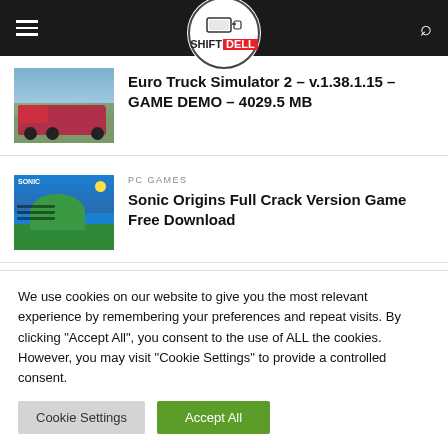SHIFT DELL - navigation header
Euro Truck Simulator 2 – v.1.38.1.15 – GAME DEMO – 4029.5 MB
PC GAMES
Sonic Origins Full Crack Version Game Free Download
We use cookies on our website to give you the most relevant experience by remembering your preferences and repeat visits. By clicking "Accept All", you consent to the use of ALL the cookies. However, you may visit "Cookie Settings" to provide a controlled consent.